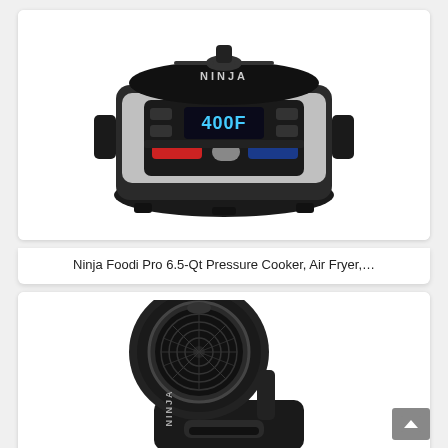[Figure (photo): Ninja Foodi Pro 6.5-Qt Pressure Cooker and Air Fryer appliance — stainless steel and black body with digital display showing 400F, multiple control buttons, and lid handle visible from above.]
Ninja Foodi Pro 6.5-Qt Pressure Cooker, Air Fryer,…
[Figure (photo): Ninja Foodi appliance shown from the side with the lid open — black body with circular fan/basket visible inside the open lid, handle on the base unit.]